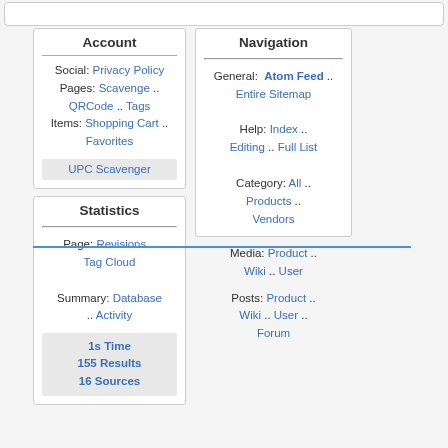Account
Social: Privacy Policy
Pages: Scavenge .. QRCode .. Tags
Items: Shopping Cart .. Favorites
UPC Scavenger
Statistics
Page: Revisions .. Tag Cloud
Summary: Database .. Activity
1s Time
155 Results
16 Sources
Navigation
General: Atom Feed .. Entire Sitemap
Help: Index .. Editing .. Full List
Category: All .. Products .. Vendors
Media: Product .. Wiki .. User
Posts: Product .. Wiki .. User .. Forum